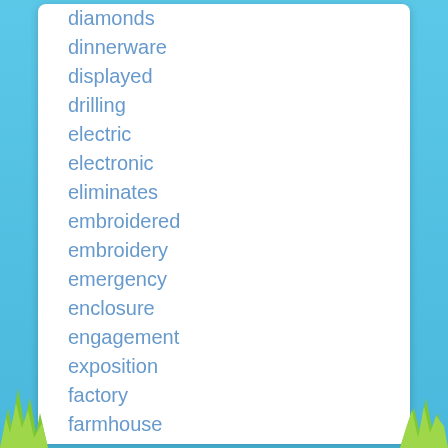diamonds
dinnerware
displayed
drilling
electric
electronic
eliminates
embroidered
embroidery
emergency
enclosure
engagement
exposition
factory
farmhouse
feldgendarmerie
fernando
fonctionne
format